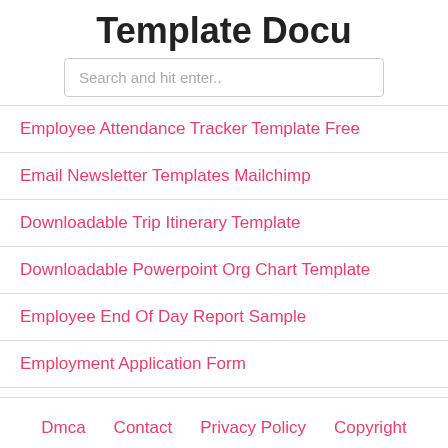Template Docu
Search and hit enter..
Employee Attendance Tracker Template Free
Email Newsletter Templates Mailchimp
Downloadable Trip Itinerary Template
Downloadable Powerpoint Org Chart Template
Employee End Of Day Report Sample
Employment Application Form
Dmca   Contact   Privacy Policy   Copyright